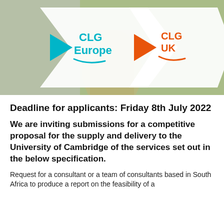[Figure (illustration): Header banner showing two overlapping diamond/arrow shapes with nature background (forest path). Left arrow in teal contains 'CLG Europe' logo with teal text and teal play-button triangle. Right arrow in orange contains 'CLG UK' logo with orange text and orange play-button triangle. Background shows a forest path photograph.]
Deadline for applicants: Friday 8th July 2022
We are inviting submissions for a competitive proposal for the supply and delivery to the University of Cambridge of the services set out in the below specification.
Request for a consultant or a team of consultants based in South Africa to produce a report on the feasibility of a